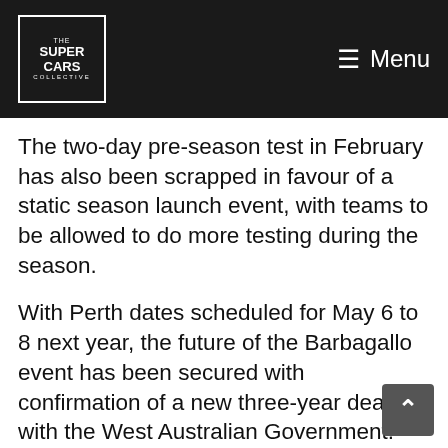The Super Cars Collective — Menu
The two-day pre-season test in February has also been scrapped in favour of a static season launch event, with teams to be allowed to do more testing during the season.
With Perth dates scheduled for May 6 to 8 next year, the future of the Barbagallo event has been secured with confirmation of a new three-year deal with the West Australian Government.
Minor changes to the Supercheap Auto Bathurst 1000 schedule have also been